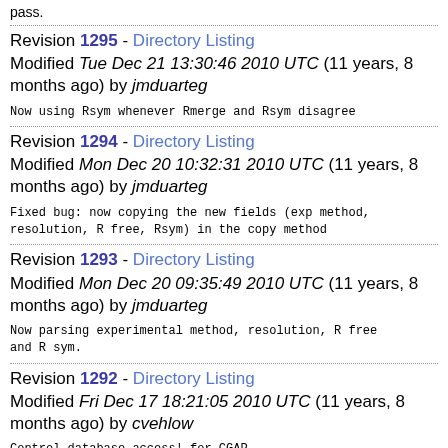pass.
Revision 1295 - Directory Listing
Modified Tue Dec 21 13:30:46 2010 UTC (11 years, 8 months ago) by jmduarteg
Now using Rsym whenever Rmerge and Rsym disagree
Revision 1294 - Directory Listing
Modified Mon Dec 20 10:32:31 2010 UTC (11 years, 8 months ago) by jmduarteg
Fixed bug: now copying the new fields (exp method, resolution, R free, Rsym) in the copy method
Revision 1293 - Directory Listing
Modified Mon Dec 20 09:35:49 2010 UTC (11 years, 8 months ago) by jmduarteg
Now parsing experimental method, resolution, R free and R sym.
Revision 1292 - Directory Listing
Modified Fri Dec 17 18:21:05 2010 UTC (11 years, 8 months ago) by cvehlow
Control database access! for CGAP
Revision 1291 - Directory Listing